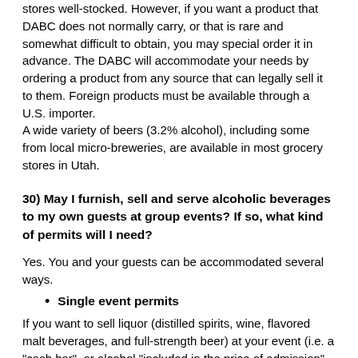stores well-stocked. However, if you want a product that DABC does not normally carry, or that is rare and somewhat difficult to obtain, you may special order it in advance. The DABC will accommodate your needs by ordering a product from any source that can legally sell it to them. Foreign products must be available through a U.S. importer.
A wide variety of beers (3.2% alcohol), including some from local micro-breweries, are available in most grocery stores in Utah.
30) May I furnish, sell and serve alcoholic beverages to my own guests at group events? If so, what kind of permits will I need?
Yes. You and your guests can be accommodated several ways.
Single event permits
If you want to sell liquor (distilled spirits, wine, flavored malt beverages, and full-strength beer) at your event (i.e. a "cash bar", or alcohol "included in the price of admission" situations), or your event will be open to the general public